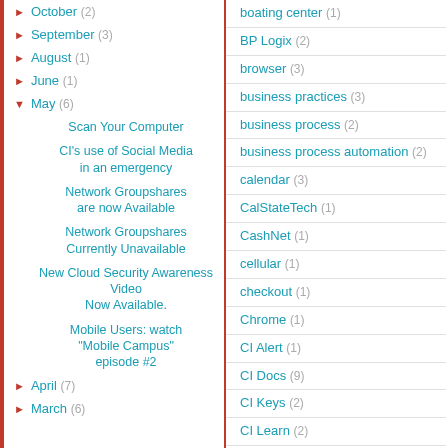October (2)
September (3)
August (1)
June (1)
May (6)
Scan Your Computer
CI's use of Social Media in an emergency
Network Groupshares are now Available
Network Groupshares Currently Unavailable
New Cloud Security Awareness Video Now Available.
Mobile Users: watch "Mobile Campus" episode #2
April (7)
March (6)
boating center (1)
BP Logix (2)
browser (3)
business practices (3)
business process (2)
business process automation (2)
calendar (3)
CalStateTech (1)
CashNet (1)
cellular (1)
checkout (1)
Chrome (1)
CI Alert (1)
CI Docs (9)
CI Keys (2)
CI Learn (2)
CI Personnel (6)